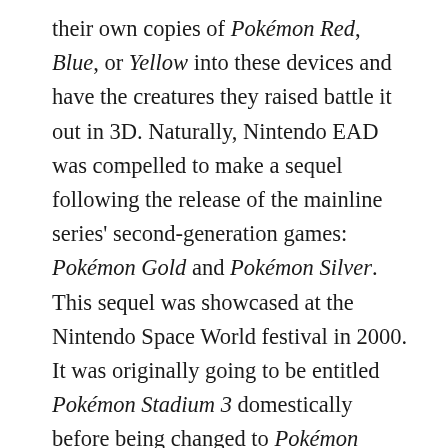their own copies of Pokémon Red, Blue, or Yellow into these devices and have the creatures they raised battle it out in 3D. Naturally, Nintendo EAD was compelled to make a sequel following the release of the mainline series' second-generation games: Pokémon Gold and Pokémon Silver. This sequel was showcased at the Nintendo Space World festival in 2000. It was originally going to be entitled Pokémon Stadium 3 domestically before being changed to Pokémon Stadium Gold/Silver, seeing a release in December of that year. Western fans wouldn't have to wait too much longer for the game to be released internationally, seeing the light of day in March of 2001 in North America and October of the same year in Europe. As only the second of the two games in the series left their native homeland, it was dubbed Pokémon Stadium 2 abroad. Does this game